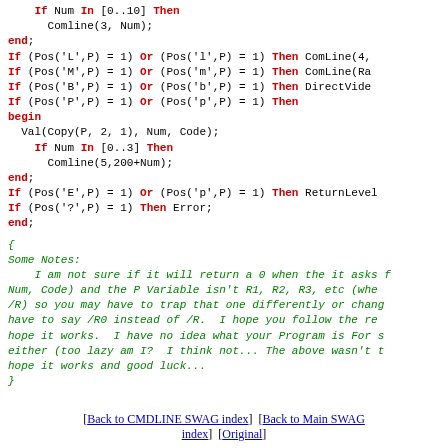Pascal source code snippet with If/begin/end blocks and comments
Comment block: Some Notes about the code
[Back to CMDLINE SWAG index] [Back to Main SWAG index] [Original]